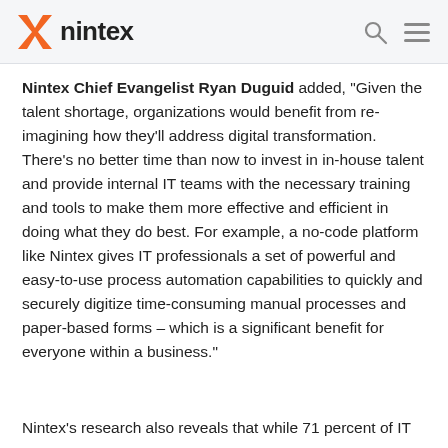nintex
Nintex Chief Evangelist Ryan Duguid added, "Given the talent shortage, organizations would benefit from re-imagining how they'll address digital transformation. There's no better time than now to invest in in-house talent and provide internal IT teams with the necessary training and tools to make them more effective and efficient in doing what they do best. For example, a no-code platform like Nintex gives IT professionals a set of powerful and easy-to-use process automation capabilities to quickly and securely digitize time-consuming manual processes and paper-based forms – which is a significant benefit for everyone within a business."
Nintex's research also reveals that while 71 percent of IT